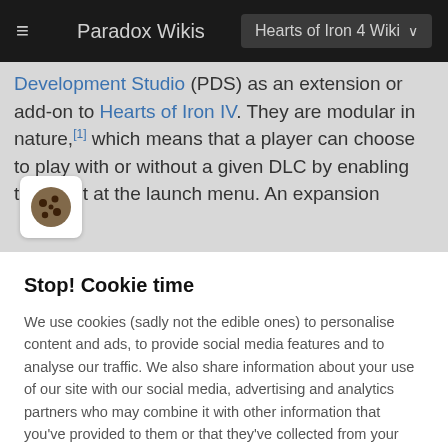Paradox Wikis | Hearts of Iron 4 Wiki
Development Studio (PDS) as an extension or add-on to Hearts of Iron IV. They are modular in nature,[1] which means that a player can choose to play with or without a given DLC by enabling them out at the launch menu. An expansion
Stop! Cookie time
We use cookies (sadly not the edible ones) to personalise content and ads, to provide social media features and to analyse our traffic. We also share information about your use of our site with our social media, advertising and analytics partners who may combine it with other information that you've provided to them or that they've collected from your use of their services. You consent to our cookies if you continue to use this website.
Manage cookies | I ACCEPT